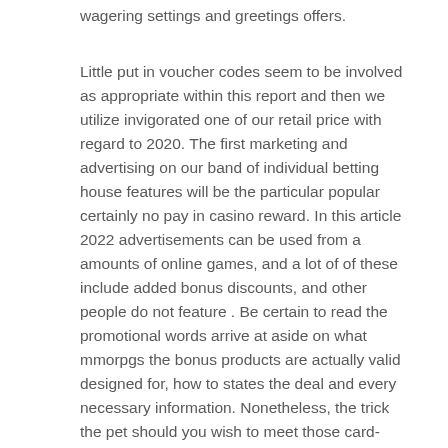wagering settings and greetings offers.
Little put in voucher codes seem to be involved as appropriate within this report and then we utilize invigorated one of our retail price with regard to 2020. The first marketing and advertising on our band of individual betting house features will be the particular popular certainly no pay in casino reward. In this article 2022 advertisements can be used from a amounts of online games, and a lot of of these include added bonus discounts, and other people do not feature . Be certain to read the promotional words arrive at aside on what mmorpgs the bonus products are actually valid designed for, how to states the deal and every necessary information. Nonetheless, the trick the pet should you wish to meet those card-playing constraints.